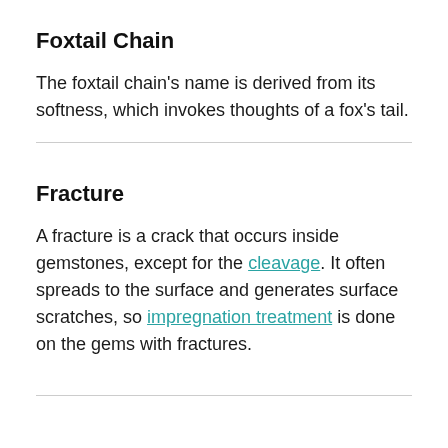Foxtail Chain
The foxtail chain's name is derived from its softness, which invokes thoughts of a fox's tail.
Fracture
A fracture is a crack that occurs inside gemstones, except for the cleavage. It often spreads to the surface and generates surface scratches, so impregnation treatment is done on the gems with fractures.